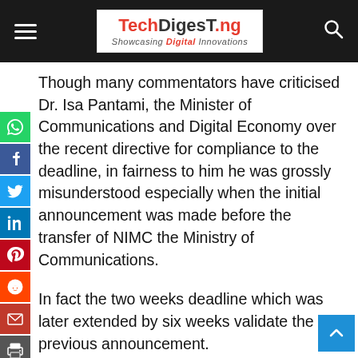TechDigesT.ng — Showcasing Digital Innovations
Though many commentators have criticised Dr. Isa Pantami, the Minister of Communications and Digital Economy over the recent directive for compliance to the deadline, in fairness to him he was grossly misunderstood especially when the initial announcement was made before the transfer of NIMC the Ministry of Communications.
In fact the two weeks deadline which was later extended by six weeks validate the previous announcement.
It is also discovered that NIMC officials and their union did not approach or send a request to the ministry regarding the facilities they needed.
In a recent interview, Dr. Pantami also said...